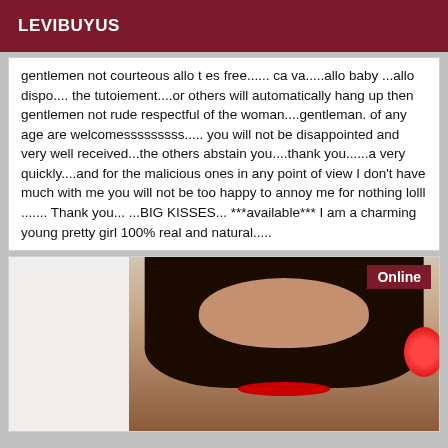LEVIBUYUS
gentlemen not courteous allo t es free...... ca va.....allo baby ...allo dispo.... the tutoiement....or others will automatically hang up then gentlemen not rude respectful of the woman....gentleman. of any age are welcomesssssssss..... you will not be disappointed and very well received...the others abstain you....thank you......a very quickly....and for the malicious ones in any point of view I don't have much with me you will not be too happy to annoy me for nothing lolll ....... Thank you... ...BIG KISSES... ***available*** I am a charming young pretty girl 100% real and natural.....
[Figure (photo): Photo of a young woman with long dark hair and red lips, with an 'Online' badge in the top right corner]